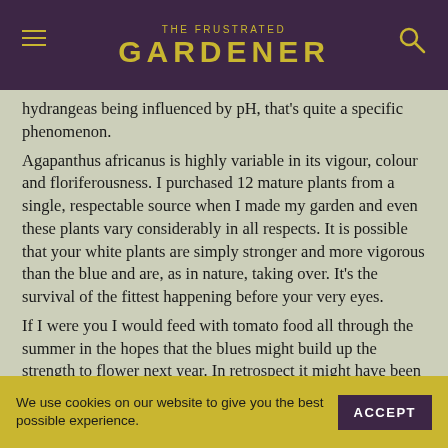THE FRUSTRATED GARDENER
hydrangeas being influenced by pH, that's quite a specific phenomenon. Agapanthus africanus is highly variable in its vigour, colour and floriferousness. I purchased 12 mature plants from a single, respectable source when I made my garden and even these plants vary considerably in all respects. It is possible that your white plants are simply stronger and more vigorous than the blue and are, as in nature, taking over. It's the survival of the fittest happening before your very eyes. If I were you I would feed with tomato food all through the summer in the hopes that the blues might build up the strength to flower next year. In retrospect it might have been better not to mix
We use cookies on our website to give you the best possible experience.